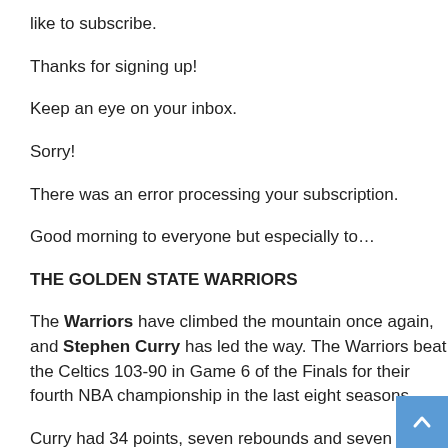like to subscribe.
Thanks for signing up!
Keep an eye on your inbox.
Sorry!
There was an error processing your subscription.
Good morning to everyone but especially to…
THE GOLDEN STATE WARRIORS
The Warriors have climbed the mountain once again, and Stephen Curry has led the way. The Warriors beat the Celtics 103-90 in Game 6 of the Finals for their fourth NBA championship in the last eight seasons.
Curry had 34 points, seven rebounds and seven assists en